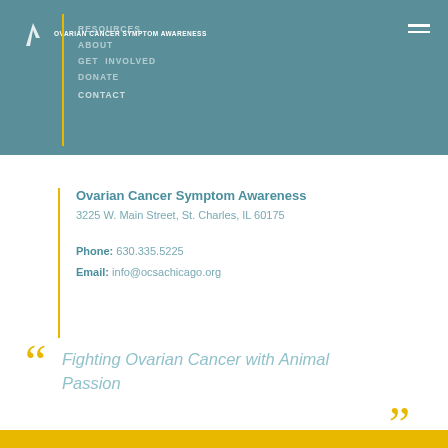OVARIAN CANCER SYMPTOM AWARENESS
RESOURCES
ABOUT
CONTACT
Ovarian Cancer Symptom Awareness
3225 W. Main Street, St. Charles, IL 60175
Phone: 630.335.5225
Email: info@ocsachicago.org
Fighting Ovarian Cancer with Animal Passion